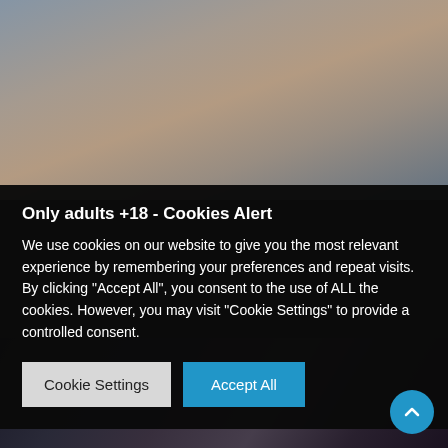[Figure (photo): Background image of a person visible at the top portion of the page, partially obscured by cookie consent overlay]
Only adults +18 - Cookies Alert
We use cookies on our website to give you the most relevant experience by remembering your preferences and repeat visits. By clicking "Accept All", you consent to the use of ALL the cookies. However, you may visit "Cookie Settings" to provide a controlled consent.
Cookie Settings
Accept All
[Figure (photo): Background image visible at the bottom of the page showing two people in a dark scene]